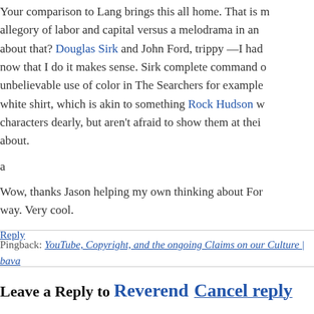Your comparison to Lang brings this all home. That is more allegory of labor and capital versus a melodrama in an about that? Douglas Sirk and John Ford, trippy —I had now that I do it makes sense. Sirk complete command unbelievable use of color in The Searchers for example white shirt, which is akin to something Rock Hudson w characters dearly, but aren't afraid to show them at thei about.
a
Wow, thanks Jason helping my own thinking about For way. Very cool.
Reply
Pingback: YouTube, Copyright, and the ongoing Claims on our Culture | bava
Leave a Reply to Reverend Cancel reply